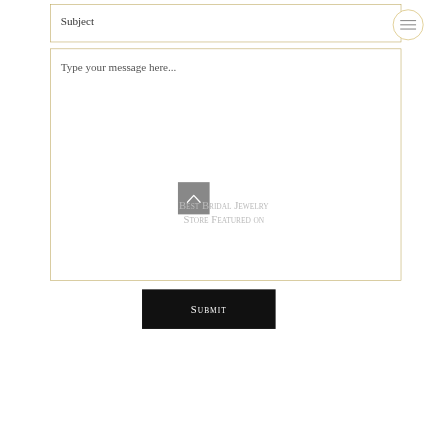Subject
Type your message here...
Submit
Best Bridal Jewelry Store Featured on